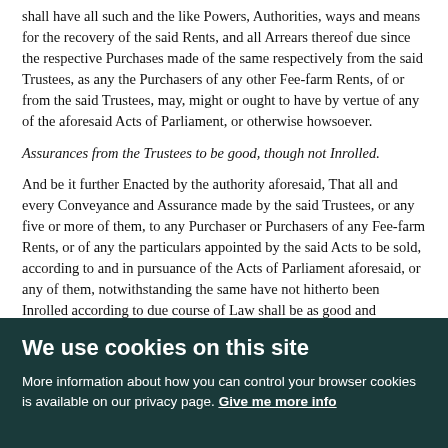shall have all such and the like Powers, Authorities, ways and means for the recovery of the said Rents, and all Arrears thereof due since the respective Purchases made of the same respectively from the said Trustees, as any the Purchasers of any other Fee-farm Rents, of or from the said Trustees, may, might or ought to have by vertue of any of the aforesaid Acts of Parliament, or otherwise howsoever.
Assurances from the Trustees to be good, though not Inrolled.
And be it further Enacted by the authority aforesaid, That all and every Conveyance and Assurance made by the said Trustees, or any five or more of them, to any Purchaser or Purchasers of any Fee-farm Rents, or of any the particulars appointed by the said Acts to be sold, according to and in pursuance of the Acts of Parliament aforesaid, or any of them, notwithstanding the same have not hitherto been Inrolled according to due course of Law shall be as good and effectual to all intents and purposes to the respective Purchasers and their Heirs, as if the said Conveyances had been duly Inrolled.
Inrollment good though the time be elapsed.
And if any of the said Purchaser or Purchasers shall be desirous to Inrol his or their Conveyance or Conveyances, Be it Declared, Enacted and Ordained by this present Parliament, and by the authority thereof, That every such Conveyance so Inrolled, shall be good and effectual in Law to the respective
We use cookies on this site
More information about how you can control your browser cookies is available on our privacy page. Give me more info